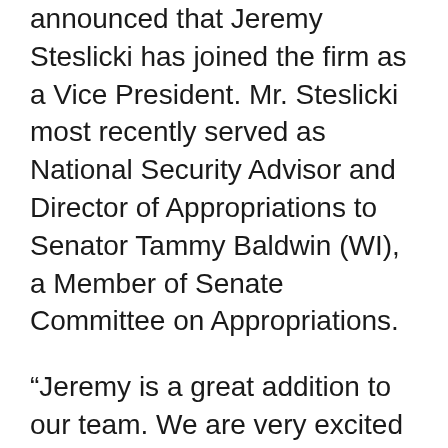announced that Jeremy Steslicki has joined the firm as a Vice President. Mr. Steslicki most recently served as National Security Advisor and Director of Appropriations to Senator Tammy Baldwin (WI), a Member of Senate Committee on Appropriations.
“Jeremy is a great addition to our team. We are very excited to have him on board. He’s a well-respected senior Senate staffer and a national security and appropriations expert,” said SMI’s COO Bill McCann. “Our current clients will benefit from Jeremy’s contacts and his deep understanding of the appropriations process. We also anticipate that he’ll attract new clients